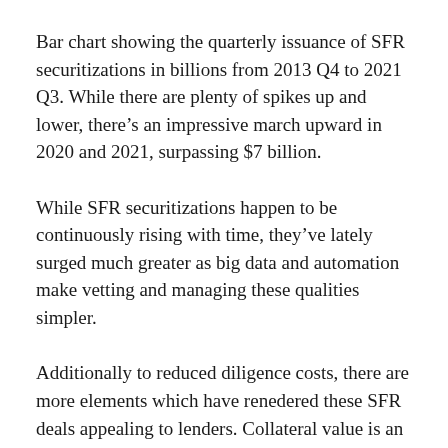Bar chart showing the quarterly issuance of SFR securitizations in billions from 2013 Q4 to 2021 Q3. While there are plenty of spikes up and lower, there's an impressive march upward in 2020 and 2021, surpassing $7 billion.
While SFR securitizations happen to be continuously rising with time, they've lately surged much greater as big data and automation make vetting and managing these qualities simpler.
Additionally to reduced diligence costs, there are more elements which have renedered these SFR deals appealing to lenders. Collateral value is an essential component associated with a securitization model, and single-family